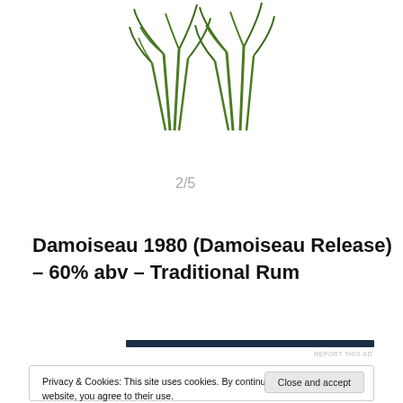[Figure (illustration): Two sugarcane plant illustrations side by side]
2/5
Damoiseau 1980 (Damoiseau Release) – 60% abv – Traditional Rum
REPORT THIS AD
Privacy & Cookies: This site uses cookies. By continuing to use this website, you agree to their use.
To find out more, including how to control cookies, see here: Cookie Policy